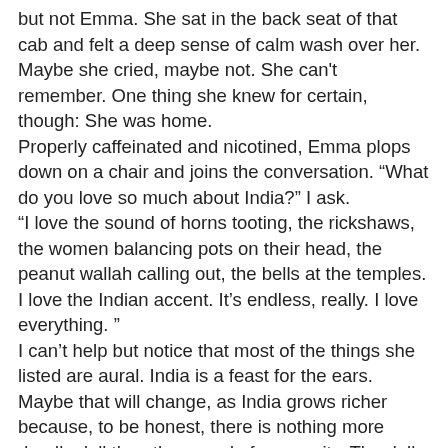but not Emma. She sat in the back seat of that cab and felt a deep sense of calm wash over her. Maybe she cried, maybe not. She can’t remember. One thing she knew for certain, though: She was home.
Properly caffeinated and nicotined, Emma plops down on a chair and joins the conversation. “What do you love so much about India?” I ask.
“I love the sound of horns tooting, the rickshaws, the women balancing pots on their head, the peanut wallah calling out, the bells at the temples. I love the Indian accent. It’s endless, really. I love everything. ”
I can’t help but notice that most of the things she listed are aural. India is a feast for the ears. Maybe that will change, as India grows richer because, to be honest, there is nothing more deadly dull than the sound of prosperity. The dull hum of an air conditioner or the muffled clicks on a keypad simply can't compete with the sing-song call of hawkers at an open-air market or the rhythmic clickity-clack of a sweatshop's sewing machines. Even Third World traffic, with its symphony of honking horns and tinkling bells, beats the monotonous whoosh of a modern freeway.
Emma used to live in Bangalore. That’s how she knows